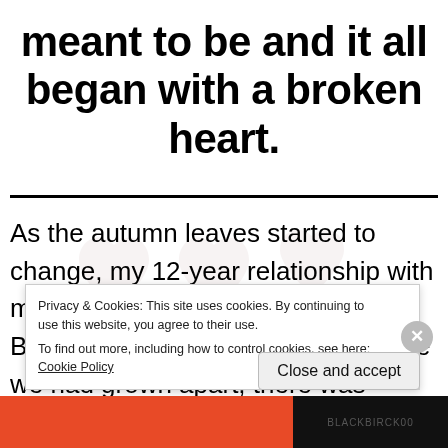meant to be and it all began with a broken heart.
As the autumn leaves started to change, my 12-year relationship with my “childhood sweetheart” ended. But we didn’t just part ways because we had grown apart, there was
Privacy & Cookies: This site uses cookies. By continuing to use this website, you agree to their use.
To find out more, including how to control cookies, see here: Cookie Policy
Close and accept